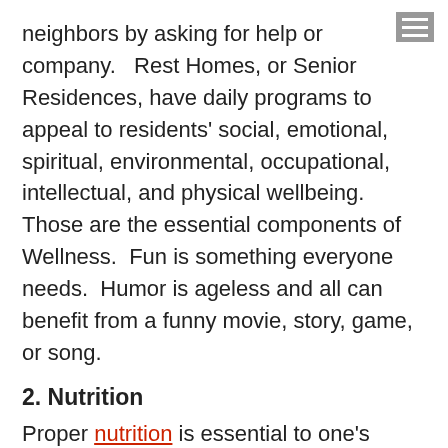neighbors by asking for help or company.   Rest Homes, or Senior Residences, have daily programs to appeal to residents' social, emotional, spiritual, environmental, occupational, intellectual, and physical wellbeing. Those are the essential components of Wellness.  Fun is something everyone needs.  Humor is ageless and all can benefit from a funny movie, story, game, or song.
2. Nutrition
Proper nutrition is essential to one's health. When a person ages and may live alone, the desire to cook, especially for one, usually decreases, and shopping for groceries can become difficult for many reasons.  Special diets also need to be considered and can be hard to follow or understand (diabetes, salt restrictions, allergies, etc.)  At Brookhouse Home, with the help of a registered dietitian, we pay attention to a healthy,